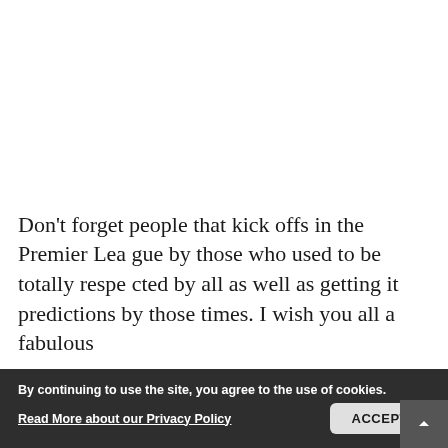Don't forget people that kick offs in the Premier League by those who used to be totally respected by all as well as getting it predictions by those times. I wish you all a fabulous
By continuing to use the site, you agree to the use of cookies.
Read More about our Privacy Policy
ACCEPT